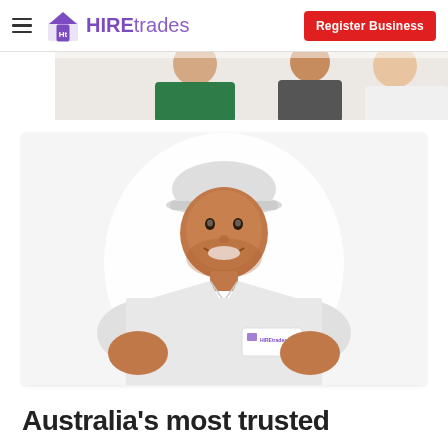HIREtrades — Register Business
[Figure (photo): Partial strip of smiling people in a home services context, cropped at top]
[Figure (photo): Smiling male tradesman wearing a white polo shirt with HIREtrades logo badge and white cap, set against a white background inside a light grey card]
Australia's most trusted